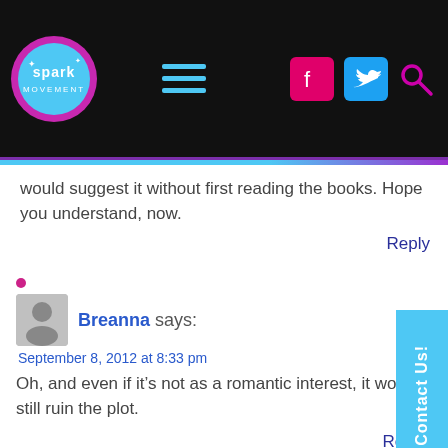[Figure (logo): Spark Movement website header with logo, hamburger menu, Facebook icon, Twitter bird icon, and search icon on black background]
would suggest it without first reading the books. Hope you understand, now.
Reply
Breanna says:
September 8, 2012 at 8:33 pm
Oh, and even if it’s not as a romantic interest, it wo still ruin the plot.
Reply